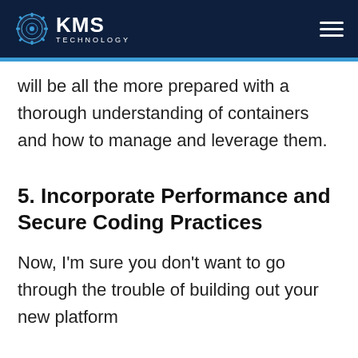KMS TECHNOLOGY
will be all the more prepared with a thorough understanding of containers and how to manage and leverage them.
5. Incorporate Performance and Secure Coding Practices
Now, I'm sure you don't want to go through the trouble of building out your new platform